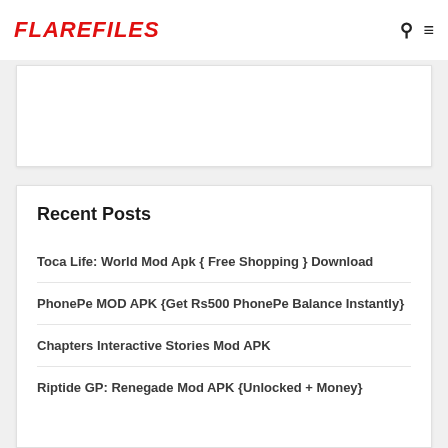FLAREFILES
[Figure (other): Advertisement/banner white box]
Recent Posts
Toca Life: World Mod Apk { Free Shopping } Download
PhonePe MOD APK {Get Rs500 PhonePe Balance Instantly}
Chapters Interactive Stories Mod APK
Riptide GP: Renegade Mod APK {Unlocked + Money}